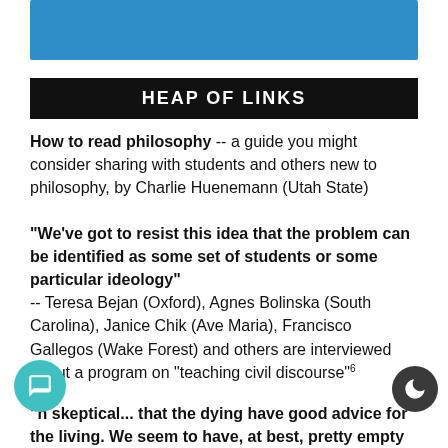[Figure (other): Blue banner at top of page]
HEAP OF LINKS
How to read philosophy -- a guide you might consider sharing with students and others new to philosophy, by Charlie Huenemann (Utah State)
“We’ve got to resist this idea that the problem can be identified as some set of students or some particular ideology” -- Teresa Bejan (Oxford), Agnes Bolinska (South Carolina), Janice Chik (Ave Maria), Francisco Gallegos (Wake Forest) and others are interviewed about a program on "teaching civil discourse"
“n skeptical… that the dying have good advice for the living. We seem to have, at best, pretty empty